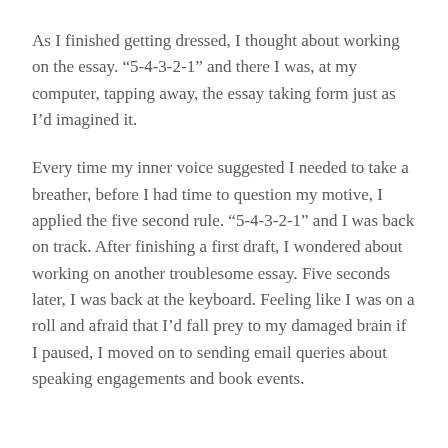As I finished getting dressed, I thought about working on the essay. “5-4-3-2-1” and there I was, at my computer, tapping away, the essay taking form just as I’d imagined it.
Every time my inner voice suggested I needed to take a breather, before I had time to question my motive, I applied the five second rule. “5-4-3-2-1” and I was back on track. After finishing a first draft, I wondered about working on another troublesome essay. Five seconds later, I was back at the keyboard. Feeling like I was on a roll and afraid that I’d fall prey to my damaged brain if I paused, I moved on to sending email queries about speaking engagements and book events.